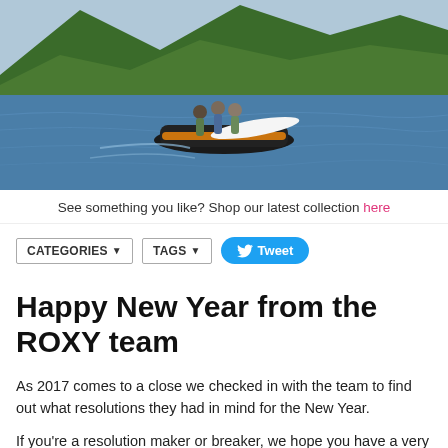[Figure (photo): Outdoor water photo showing people on a jet ski/watercraft on blue water with green forested hills in the background.]
See something you like? Shop our latest collection here
CATEGORIES▾   TAGS▾   Tweet
Happy New Year from the ROXY team
As 2017 comes to a close we checked in with the team to find out what resolutions they had in mind for the New Year.
If you're a resolution maker or breaker, we hope you have a very